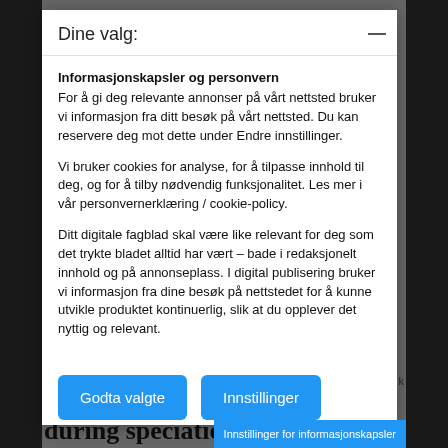Dine valg:
Informasjonskapsler og personvern
For å gi deg relevante annonser på vårt nettsted bruker vi informasjon fra ditt besøk på vårt nettsted. Du kan reservere deg mot dette under Endre innstillinger.
Vi bruker cookies for analyse, for å tilpasse innhold til deg, og for å tilby nødvendig funksjonalitet. Les mer i vår personvernerklæring / cookie-policy.
Ditt digitale fagblad skal være like relevant for deg som det trykte bladet alltid har vært – bade i redaksjonelt innhold og på annonseplass. I digital publisering bruker vi informasjon fra dine besøk på nettstedet for å kunne utvikle produktet kontinuerlig, slik at du opplever det nyttig og relevant.
Godta valgte
Innstillinger
during speciation. The e
Innstillinger for informasjonskapsler